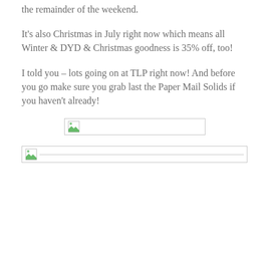the remainder of the weekend.
It's also Christmas in July right now which means all Winter & DYD & Christmas goodness is 35% off, too!
I told you – lots going on at TLP right now! And before you go make sure you grab last the Paper Mail Solids if you haven't already!
[Figure (photo): Broken image placeholder (centered, rectangular with thin border)]
[Figure (photo): Broken image placeholder (left-aligned, wide with thin border and horizontal line)]